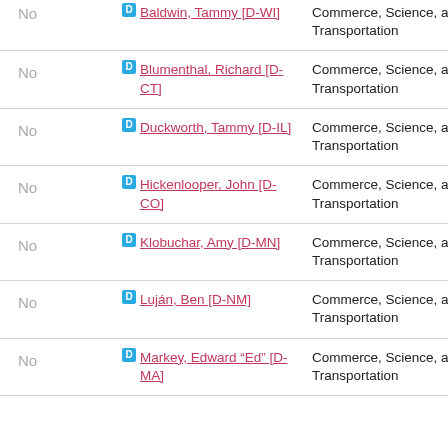| Vote | Senator | Committee |
| --- | --- | --- |
| No | Baldwin, Tammy [D-WI] | Commerce, Science, and Transportation |
| No | Blumenthal, Richard [D-CT] | Commerce, Science, and Transportation |
| No | Duckworth, Tammy [D-IL] | Commerce, Science, and Transportation |
| No | Hickenlooper, John [D-CO] | Commerce, Science, and Transportation |
| No | Klobuchar, Amy [D-MN] | Commerce, Science, and Transportation |
| No | Luján, Ben [D-NM] | Commerce, Science, and Transportation |
| No | Markey, Edward "Ed" [D-MA] | Commerce, Science, and Transportation |